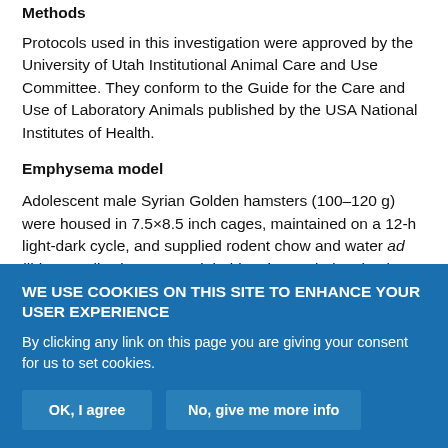Methods
Protocols used in this investigation were approved by the University of Utah Institutional Animal Care and Use Committee. They conform to the Guide for the Care and Use of Laboratory Animals published by the USA National Institutes of Health.
Emphysema model
Adolescent male Syrian Golden hamsters (100–120 g) were housed in 7.5×8.5 inch cages, maintained on a 12-h light-dark cycle, and supplied rodent chow and water ad libitum. Following a 1-week habituation period, animals were randomly divided into control (CON)
WE USE COOKIES ON THIS SITE TO ENHANCE YOUR USER EXPERIENCE
By clicking any link on this page you are giving your consent for us to set cookies.
OK, I agree
No, give me more info